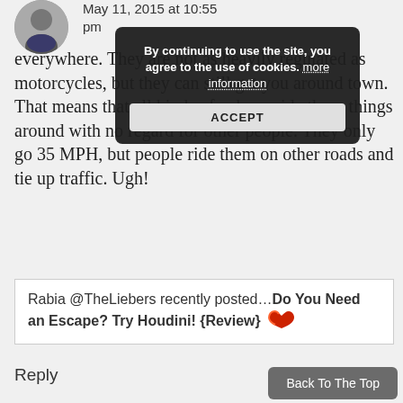[Figure (photo): Circular avatar photo of a person, partially visible at top left]
May 11, 2015 at 10:55 pm
everywhere. They are not as heavily regulated as motorcycles, but they can still get you around town. That means that all kinds of yahoos ride these things around with no regard for other people. They only go 35 MPH, but people ride them on other roads and tie up traffic. Ugh!
[Figure (screenshot): Cookie consent overlay popup with text 'By continuing to use the site, you agree to the use of cookies. more information' and an ACCEPT button]
Rabia @TheLiebers recently posted…Do You Need an Escape? Try Houdini! {Review}
Reply
Back To The Top